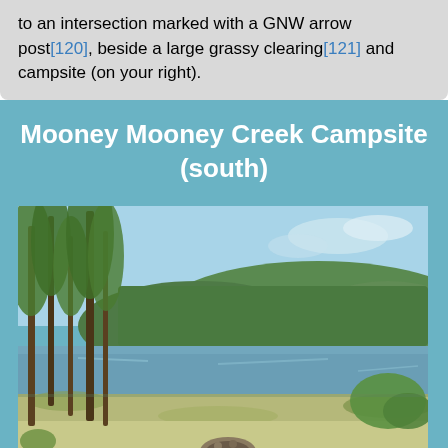to an intersection marked with a GNW arrow post[120], beside a large grassy clearing[121] and campsite (on your right).
Mooney Mooney Creek Campsite (south)
[Figure (photo): Outdoor photograph of Mooney Mooney Creek Campsite (south), showing a grassy clearing with tall slender trees on the left, a calm river or creek in the middle distance, dense tree-covered hills in the background under a partly cloudy sky, and a stone fire ring in the foreground.]